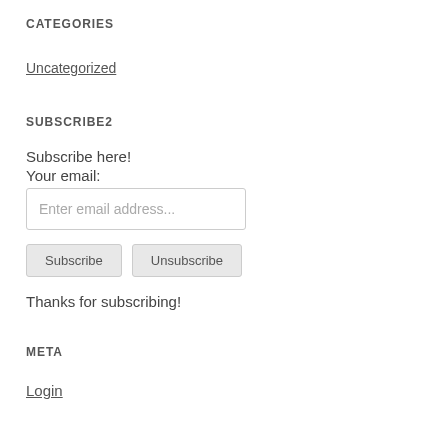CATEGORIES
Uncategorized
SUBSCRIBE2
Subscribe here!
Your email:
Enter email address...
Subscribe   Unsubscribe
Thanks for subscribing!
META
Login